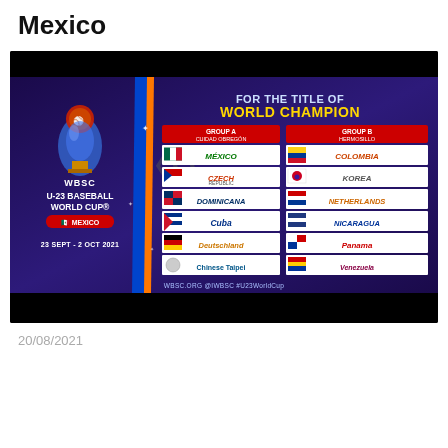Mexico
[Figure (infographic): WBSC U-23 Baseball World Cup Mexico promotional image showing Group A (Cuidad Obregon) with teams Mexico, Czech Republic, Dominican Republic, Cuba, Deutschland, Chinese Taipei and Group B (Hermosillo) with teams Colombia, Korea, Netherlands, Nicaragua, Panama, Venezuela. Text: FOR THE TITLE OF WORLD CHAMPION. Date: 23 Sept - 2 Oct 2021. WBSC.ORG @IWBSC #U23WorldCup]
20/08/2021